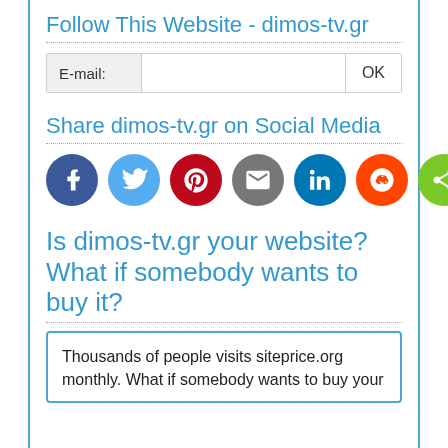Follow This Website - dimos-tv.gr
[Figure (screenshot): Email subscription form with label 'E-mail:', a text input field, and an OK button]
Share dimos-tv.gr on Social Media
[Figure (infographic): Row of 7 social media share buttons: Facebook (blue), Twitter (light blue), Pinterest (red), Email (gray), LinkedIn (dark blue), Reddit (orange), Share (green)]
Is dimos-tv.gr your website? What if somebody wants to buy it?
Thousands of people visits siteprice.org monthly. What if somebody wants to buy your